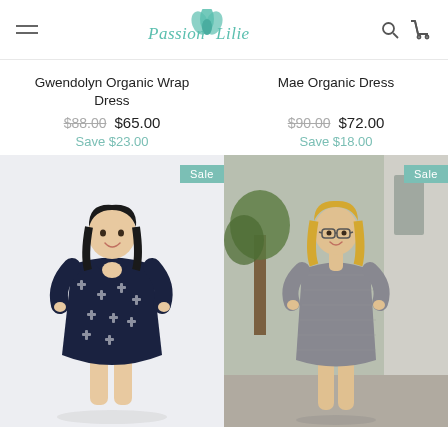Passion Lilie – navigation header with hamburger menu, logo, search and cart icons
Gwendolyn Organic Wrap Dress
$88.00  $65.00  Save $23.00
[Figure (photo): Woman wearing a navy blue wrap dress with small white cross pattern, Sale badge in top right corner]
Mae Organic Dress
$90.00  $72.00  Save $18.00
[Figure (photo): Woman wearing a grey heathered short-sleeve dress, standing outdoors near trees and a wooden building, Sale badge in top right corner]